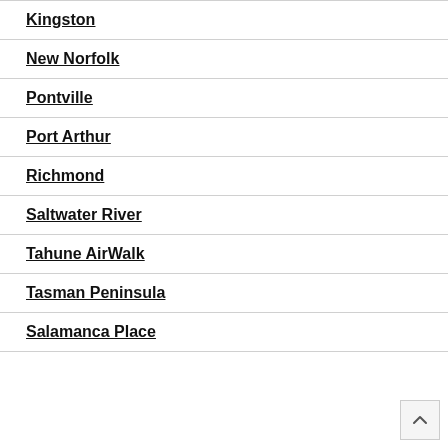Kingston
New Norfolk
Pontville
Port Arthur
Richmond
Saltwater River
Tahune AirWalk
Tasman Peninsula
Salamanca Place